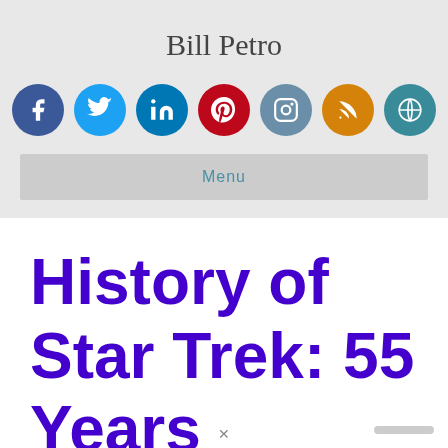Bill Petro
[Figure (infographic): Row of 7 social media icon circles: Facebook (blue), Twitter (light blue), LinkedIn (dark blue), Pinterest (red), Instagram (gray-blue), RSS (orange), WordPress (teal)]
Menu
History of Star Trek: 55 Years